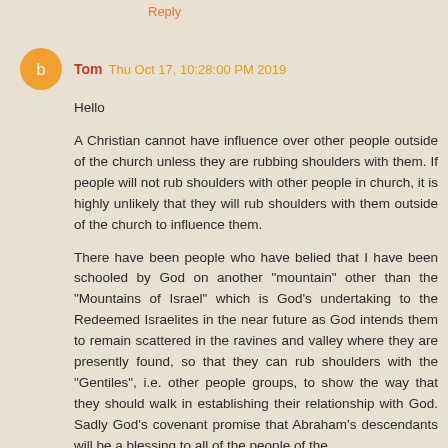Reply
Tom  Thu Oct 17, 10:28:00 PM 2019
Hello

A Christian cannot have influence over other people outside of the church unless they are rubbing shoulders with them. If people will not rub shoulders with other people in church, it is highly unlikely that they will rub shoulders with them outside of the church to influence them.

There have been people who have belied that I have been schooled by God on another "mountain" other than the "Mountains of Israel" which is God's undertaking to the Redeemed Israelites in the near future as God intends them to remain scattered in the ravines and valley where they are presently found, so that they can rub shoulders with the "Gentiles", i.e. other people groups, to show the way that they should walk in establishing their relationship with God. Sadly God's covenant promise that Abraham's descendants will be a blessing to all of the people of the